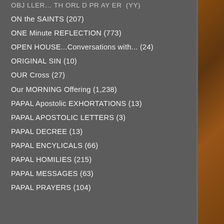ON the SAINTS (207)
ONE Minute REFLECTION (773)
OPEN HOUSE...Conversations with... (24)
ORIGINAL SIN (10)
OUR Cross (27)
Our MORNING Offering (1,238)
PAPAL Apostolic EXHORTATIONS (13)
PAPAL APOSTOLIC LETTERS (3)
PAPAL DECREE (13)
PAPAL ENCYLICALS (66)
PAPAL HOMILIES (215)
PAPAL MESSAGES (63)
PAPAL PRAYERS (104)